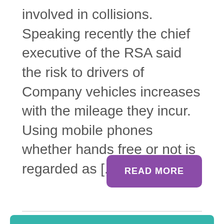involved in collisions. Speaking recently the chief executive of the RSA said the risk to drivers of Company vehicles increases with the mileage they incur. Using mobile phones whether hands free or not is regarded as [...]
READ MORE
Recent Posts
Revised Book of Quantum
September 30, 2016 | biocare
Dismissal Was Fair
September 30, 2016 | biocare
Travel Allowance Fatality...